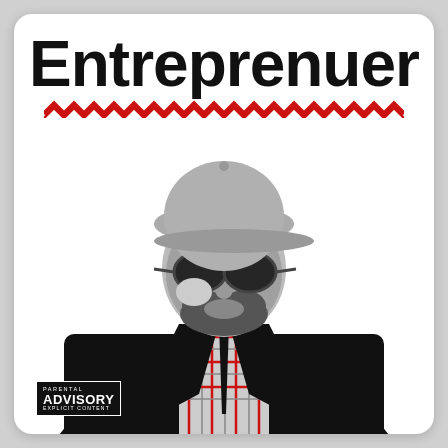Entreprenuer
[Figure (illustration): Red zigzag/chevron decorative line beneath the title text]
[Figure (photo): Black and white photo of a man wearing a grey baseball cap, round dark sunglasses which he is adjusting with one hand, a plaid/checkered shirt, black tie, and dark blazer. He is posed looking toward the camera in a confident stance.]
[Figure (logo): Parental Advisory Explicit Content black and white logo in bottom left corner]